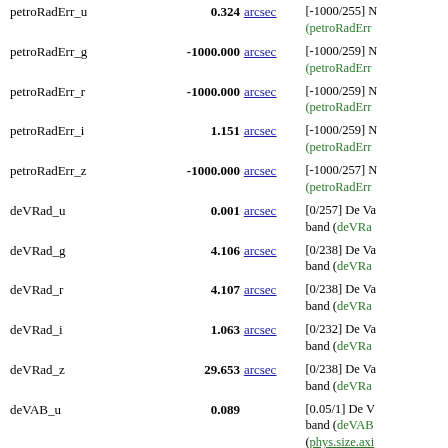| Name | Value | Unit | Description |
| --- | --- | --- | --- |
| petroRadErr_u | 0.324 | arcsec | [-1000/259] N (petroRadErr... |
| petroRadErr_g | -1000.000 | arcsec | [-1000/259] N (petroRadErr... |
| petroRadErr_r | -1000.000 | arcsec | [-1000/259] N (petroRadErr... |
| petroRadErr_i | 1.151 | arcsec | [-1000/259] N (petroRadErr... |
| petroRadErr_z | -1000.000 | arcsec | [-1000/257] N (petroRadErr... |
| deVRad_u | 0.001 | arcsec | [0/257] De Va... band (deVRa... |
| deVRad_g | 4.106 | arcsec | [0/238] De Va... band (deVRa... |
| deVRad_r | 4.107 | arcsec | [0/238] De Va... band (deVRa... |
| deVRad_i | 1.063 | arcsec | [0/232] De Va... band (deVRa... |
| deVRad_z | 29.653 | arcsec | [0/238] De Va... band (deVRa... |
| deVAB_u | 0.089 |  | [0.05/1] De V... band (deVAB... (phys.size.axi... |